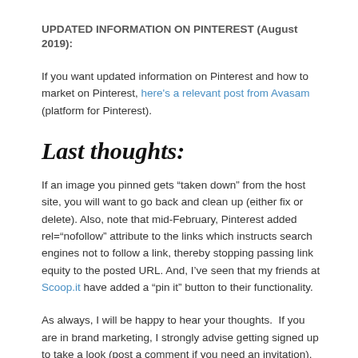UPDATED INFORMATION ON PINTEREST (August 2019):
If you want updated information on Pinterest and how to market on Pinterest, here's a relevant post from Avasam (platform for Pinterest).
Last thoughts:
If an image you pinned gets “taken down” from the host site, you will want to go back and clean up (either fix or delete). Also, note that mid-February, Pinterest added rel=“nofollow” attribute to the links which instructs search engines not to follow a link, thereby stopping passing link equity to the posted URL. And, I’ve seen that my friends at Scoop.it have added a “pin it” button to their functionality.
As always, I will be happy to hear your thoughts.  If you are in brand marketing, I strongly advise getting signed up to take a look (post a comment if you need an invitation).  Start engaging (liking/commenting) and learning your way around before blustering